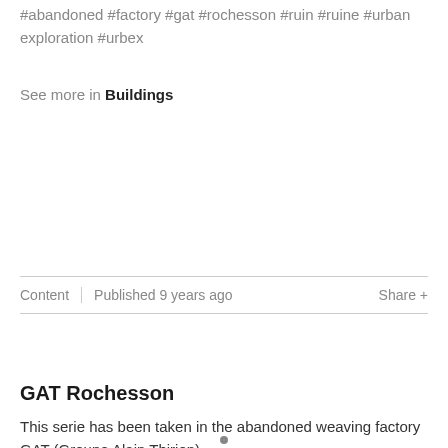#abandoned #factory #gat #rochesson #ruin #ruine #urban exploration #urbex
See more in Buildings
Content  |  Published 9 years ago  |  Share +
[Figure (other): Loading spinner or small dot indicator in the center of a blank content area]
GAT Rochesson
This serie has been taken in the abandoned weaving factory GAT (Groupe Alain Thirion),